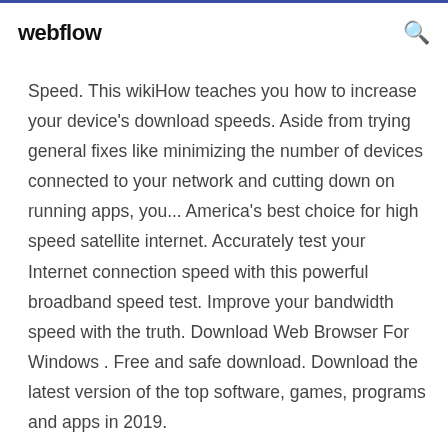webflow
Speed. This wikiHow teaches you how to increase your device's download speeds. Aside from trying general fixes like minimizing the number of devices connected to your network and cutting down on running apps, you... America's best choice for high speed satellite internet. Accurately test your Internet connection speed with this powerful broadband speed test. Improve your bandwidth speed with the truth. Download Web Browser For Windows . Free and safe download. Download the latest version of the top software, games, programs and apps in 2019.